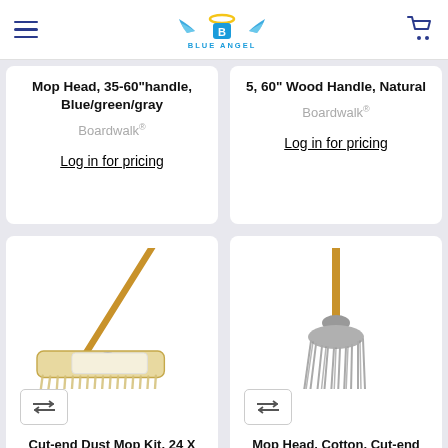Blue Angel — navigation header with hamburger menu and cart icon
Mop Head, 35-60"handle, Blue/green/gray
Boardwalk®
Log in for pricing
5, 60" Wood Handle, Natural
Boardwalk®
Log in for pricing
[Figure (photo): Cut-end dust mop kit with long wooden handle angled diagonally, with a wide rectangular mop head made of yellow/cream cotton fibers]
Cut-end Dust Mop Kit, 24 X
[Figure (photo): Mop head cotton cut-end style with long wooden handle, gray/silver stringy mop fibers hanging down]
Mop Head, Cotton, Cut-end